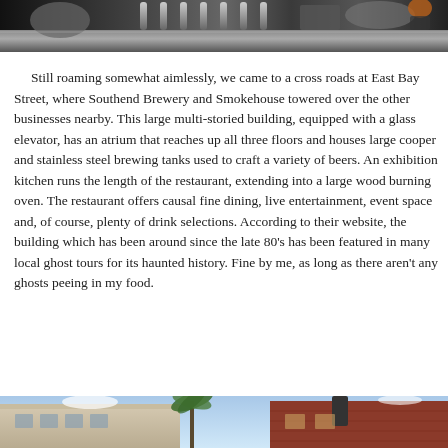[Figure (photo): Photo of a brewery bar counter with stainless steel taps and equipment, dark interior]
Still roaming somewhat aimlessly, we came to a cross roads at East Bay Street, where Southend Brewery and Smokehouse towered over the other businesses nearby. This large multi-storied building, equipped with a glass elevator, has an atrium that reaches up all three floors and houses large cooper and stainless steel brewing tanks used to craft a variety of beers. An exhibition kitchen runs the length of the restaurant, extending into a large wood burning oven. The restaurant offers causal fine dining, live entertainment, event space and, of course, plenty of drink selections. According to their website, the building which has been around since the late 80's has been featured in many local ghost tours for its haunted history. Fine by me, as long as there aren't any ghosts peeing in my food.
[Figure (photo): Photo of the exterior of Southend Brewery and Smokehouse building with palm trees and a chimney stack visible against a blue sky]